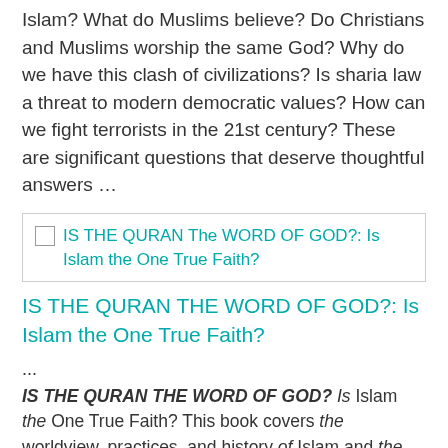Islam? What do Muslims believe? Do Christians and Muslims worship the same God? Why do we have this clash of civilizations? Is sharia law a threat to modern democratic values? How can we fight terrorists in the 21st century? These are significant questions that deserve thoughtful answers …
[Figure (other): Thumbnail image of book cover for IS THE QURAN The WORD OF GOD?: Is Islam the One True Faith?]
IS THE QURAN The WORD OF GOD?: Is Islam the One True Faith?
IS THE QURAN THE WORD OF GOD?: Is Islam the One True Faith?
...
IS THE QURAN THE WORD OF GOD? Is Islam the One True Faith? This book covers the worldview, practices, and history of Islam and the Quran. This book is designed as an apologetic evangelistic tool